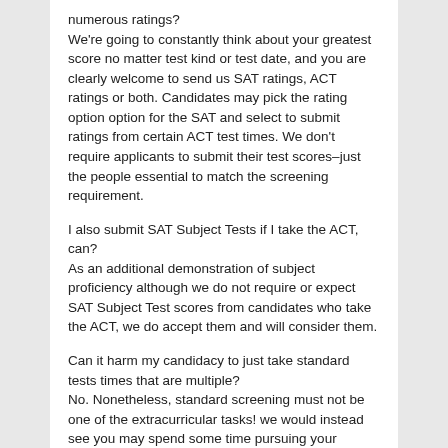numerous ratings? We're going to constantly think about your greatest score no matter test kind or test date, and you are clearly welcome to send us SAT ratings, ACT ratings or both. Candidates may pick the rating option option for the SAT and select to submit ratings from certain ACT test times. We don't require applicants to submit their test scores–just the people essential to match the screening requirement.
I also submit SAT Subject Tests if I take the ACT, can? As an additional demonstration of subject proficiency although we do not require or expect SAT Subject Test scores from candidates who take the ACT, we do accept them and will consider them.
Can it harm my candidacy to just take standard tests times that are multiple? No. Nonetheless, standard screening must not be one of the extracurricular tasks! we would instead see you may spend some time pursuing your curiosities and interests,